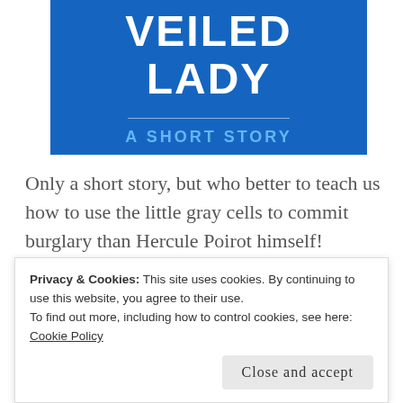[Figure (illustration): Book cover with blue background showing title 'VEILED LADY' in large white bold text, a horizontal divider line, and subtitle 'A SHORT STORY' in blue text]
Only a short story, but who better to teach us how to use the little gray cells to commit burglary than Hercule Poirot himself!
[Figure (illustration): Partial book cover visible at bottom, showing a horizontal gradient band from blue to purple to pink]
Privacy & Cookies: This site uses cookies. By continuing to use this website, you agree to their use.
To find out more, including how to control cookies, see here: Cookie Policy
Close and accept